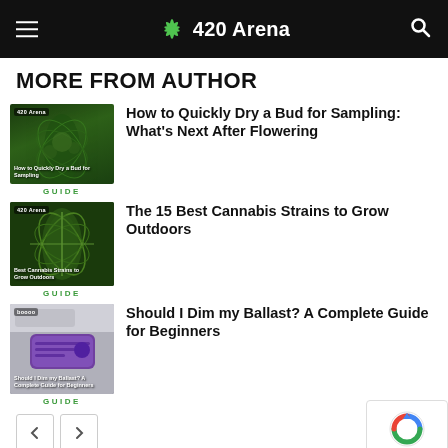420 Arena
MORE FROM AUTHOR
[Figure (photo): Cannabis bud close-up thumbnail with text overlay 'How to Quickly Dry a Bud for Sampling']
GUIDE
How to Quickly Dry a Bud for Sampling: What's Next After Flowering
[Figure (photo): Cannabis plant aerial view thumbnail with text overlay 'Best Cannabis Strains to Grow Outdoors']
GUIDE
The 15 Best Cannabis Strains to Grow Outdoors
[Figure (photo): Purple ballast device thumbnail with text overlay 'Should I Dim my Ballast? A Complete Guide for Beginners']
GUIDE
Should I Dim my Ballast? A Complete Guide for Beginners